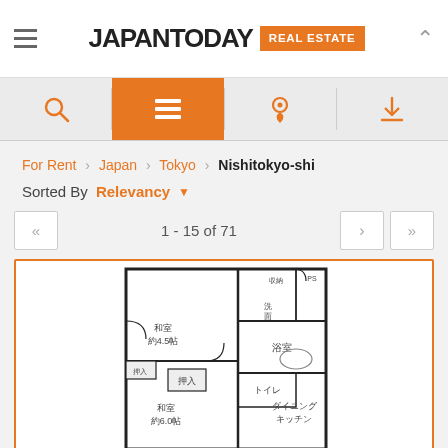JAPAN TODAY REAL ESTATE
For Rent › Japan › Tokyo › Nishitokyo-shi
Sorted By Relevancy
1 - 15 of 71
[Figure (engineering-diagram): Japanese apartment floor plan (間取り図) showing two Japanese-style rooms (和室 約4.5帖 and 和室 約6.0帖), a dining kitchen (ダイニングキッチン), bathroom (浴室), toilet (トイレ), closets (押入), and storage areas.]